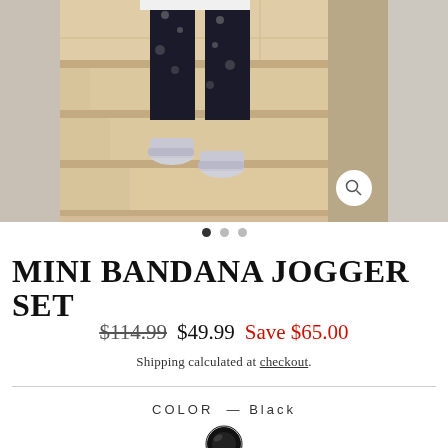[Figure (photo): Child wearing black and white bandana print jogger set with silver shoes, standing on stone stairs. Left and right edges show adjacent carousel images.]
MINI BANDANA JOGGER SET
$114.99  $49.99  Save $65.00
Shipping calculated at checkout.
COLOR — Black